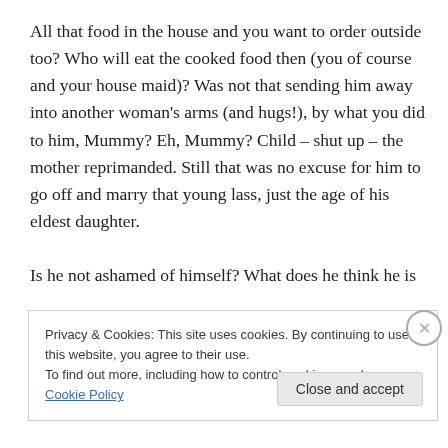All that food in the house and you want to order outside too? Who will eat the cooked food then (you of course and your house maid)? Was not that sending him away into another woman's arms (and hugs!), by what you did to him, Mummy? Eh, Mummy? Child – shut up – the mother reprimanded. Still that was no excuse for him to go off and marry that young lass, just the age of his eldest daughter.

Is he not ashamed of himself? What does he think he is
Privacy & Cookies: This site uses cookies. By continuing to use this website, you agree to their use.
To find out more, including how to control cookies, see here: Cookie Policy
Close and accept